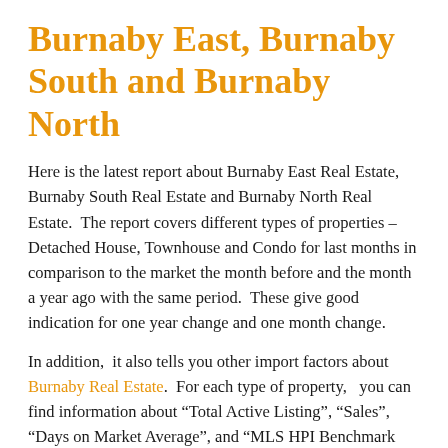Burnaby East, Burnaby South and Burnaby North
Here is the latest report about Burnaby East Real Estate, Burnaby South Real Estate and Burnaby North Real Estate.  The report covers different types of properties – Detached House, Townhouse and Condo for last months in comparison to the market the month before and the month a year ago with the same period.  These give good indication for one year change and one month change.
In addition,  it also tells you other import factors about Burnaby Real Estate.  For each type of property,   you can find information about "Total Active Listing", "Sales", "Days on Market Average", and "MLS HPI Benchmark Price".  Another